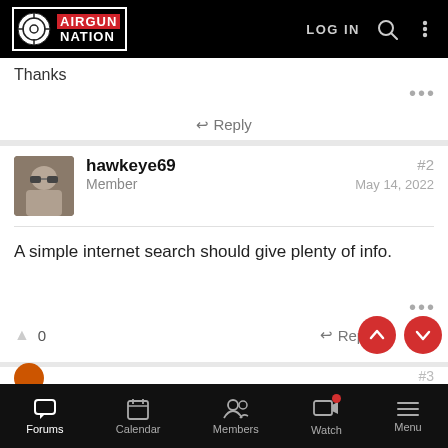[Figure (screenshot): Airgun Nation website header with logo, LOG IN button, search icon, and menu dots on black background]
Thanks
↩ Reply
hawkeye69 Member  #2  May 14, 2022
A simple internet search should give plenty of info.
0   ↩ Reply
Forums  Calendar  Members  Watch  Menu